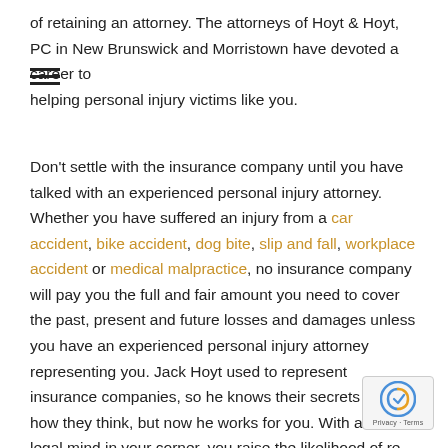of retaining an attorney. The attorneys of Hoyt & Hoyt, PC in New Brunswick and Morristown have devoted a career to helping personal injury victims like you.
Don't settle with the insurance company until you have talked with an experienced personal injury attorney. Whether you have suffered an injury from a car accident, bike accident, dog bite, slip and fall, workplace accident or medical malpractice, no insurance company will pay you the full and fair amount you need to cover the past, present and future losses and damages unless you have an experienced personal injury attorney representing you. Jack Hoyt used to represent insurance companies, so he knows their secrets and how they think, but now he works for you. With a strong legal mind in your corner, you raise the likelihood of receiving a fair settlement that the insurance companies will not